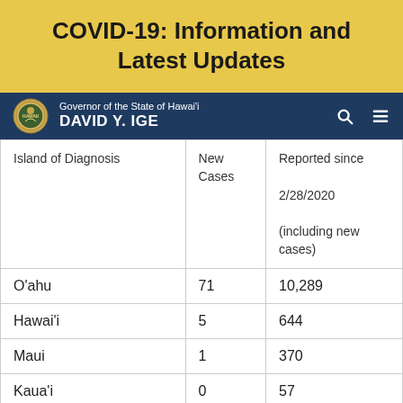COVID-19: Information and Latest Updates
Governor of the State of Hawai'i DAVID Y. IGE
| Island of Diagnosis | New Cases | Reported since 2/28/2020 (including new cases) |
| --- | --- | --- |
| O'ahu | 71 | 10,289 |
| Hawai'i | 5 | 644 |
| Maui | 1 | 370 |
| Kaua'i | 0 | 57 |